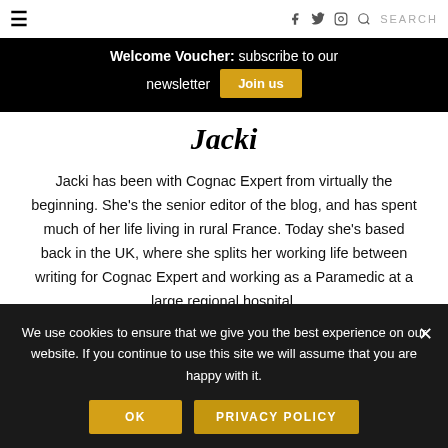≡  f  𝕏  ◉  🔍  SEARCH
Welcome Voucher: subscribe to our newsletter  [Join us]
Jacki
Jacki has been with Cognac Expert from virtually the beginning. She's the senior editor of the blog, and has spent much of her life living in rural France. Today she's based back in the UK, where she splits her working life between writing for Cognac Expert and working as a Paramedic at a large regional hospital.
We use cookies to ensure that we give you the best experience on our website. If you continue to use this site we will assume that you are happy with it.
OK  PRIVACY POLICY